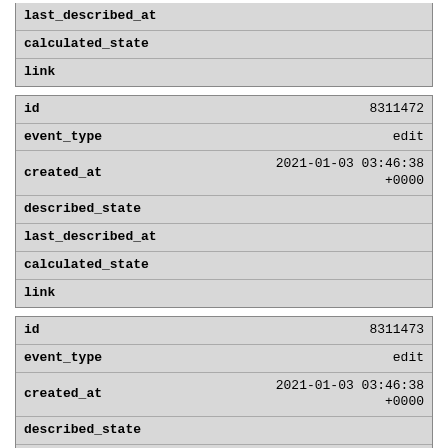| last_described_at |  |
| calculated_state |  |
| link |  |
| id | 8311472 |
| event_type | edit |
| created_at | 2021-01-03 03:46:38 +0000 |
| described_state |  |
| last_described_at |  |
| calculated_state |  |
| link |  |
| id | 8311473 |
| event_type | edit |
| created_at | 2021-01-03 03:46:38 +0000 |
| described_state |  |
| last_described_at |  |
| calculated_state |  |
| link |  |